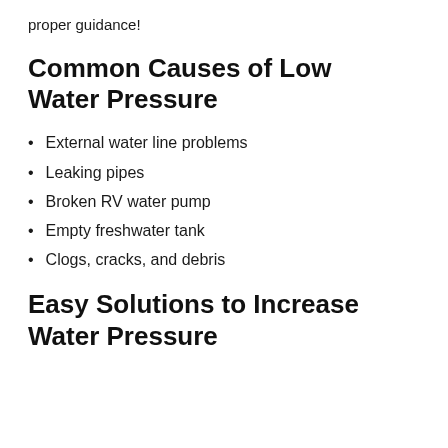proper guidance!
Common Causes of Low Water Pressure
External water line problems
Leaking pipes
Broken RV water pump
Empty freshwater tank
Clogs, cracks, and debris
Easy Solutions to Increase Water Pressure